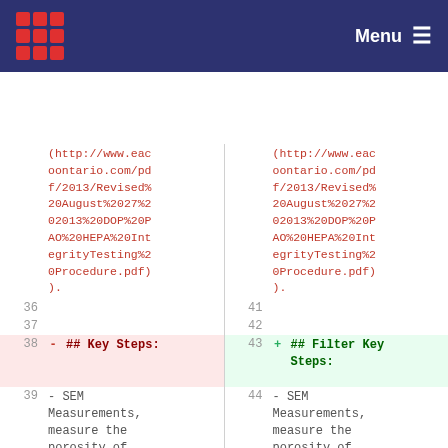Menu
| line_left | content_left | line_right | content_right |
| --- | --- | --- | --- |
|  | (http://www.eacoontario.com/pdf/2013/Revised%20August%2027%202013%20DOP%20PAO%20HEPA%20IntegrityTesting%20Procedure.pdf). |  | (http://www.eacoontario.com/pdf/2013/Revised%20August%2027%202013%20DOP%20PAO%20HEPA%20IntegrityTesting%20Procedure.pdf). |
| 36 |  | 41 |  |
| 37 |  | 42 |  |
| 38 - | ## Key Steps: | 43 + | ## Filter Key Steps: |
| 39 | - SEM Measurements, measure the porosity of the wood pulp sheets; it must be >0.1um | 44 | - SEM Measurements, measure the porosity of the wood pulp sheets; it must be >0.1um |